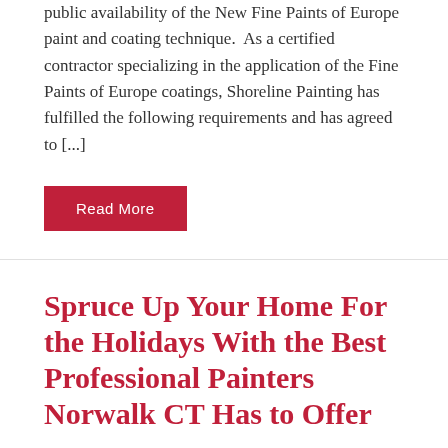public availability of the New Fine Paints of Europe paint and coating technique. As a certified contractor specializing in the application of the Fine Paints of Europe coatings, Shoreline Painting has fulfilled the following requirements and has agreed to [...]
Read More
Spruce Up Your Home For the Holidays With the Best Professional Painters Norwalk CT Has to Offer